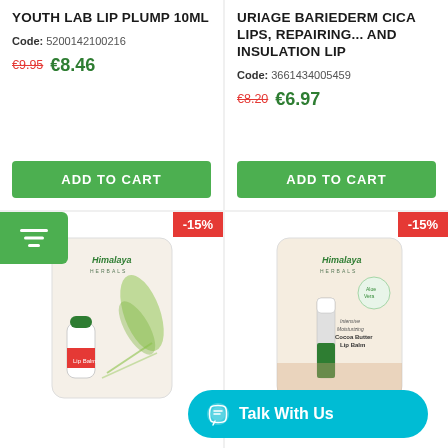YOUTH LAB LIP PLUMP 10ML
Code: 5200142100216
€9.95  €8.46
ADD TO CART
URIAGE BARIEDERM CICA LIPS, REPAIRING... AND INSULATION LIP
Code: 3661434005459
€8.20  €6.97
ADD TO CART
-15%
[Figure (photo): Himalaya Herbals Lip Balm product in blister packaging]
-15%
[Figure (photo): Himalaya Herbals Intensive Moisturizing Cocoa Butter Lip Balm stick product]
Talk With Us